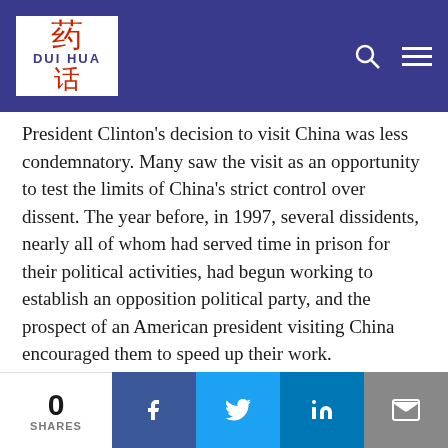Dui Hua
President Clinton's decision to visit China was less condemnatory. Many saw the visit as an opportunity to test the limits of China's strict control over dissent. The year before, in 1997, several dissidents, nearly all of whom had served time in prison for their political activities, had begun working to establish an opposition political party, and the prospect of an American president visiting China encouraged them to speed up their work.
Preparatory committees for the China Democracy Party (CDP), intended to be a national opposition party, were established in different parts of the country. Initially, they were established secretly, but on June 25, 1998, the day President Clinton arrived in China, the Hangzhou Preparatory
0 SHARES  [Facebook] [Twitter] [LinkedIn] [Email]